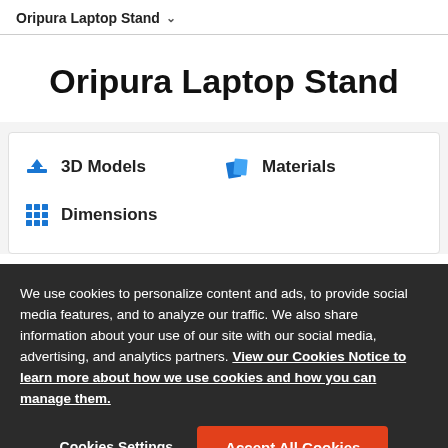Oripura Laptop Stand ˅
Oripura Laptop Stand
3D Models
Materials
Dimensions
We use cookies to personalize content and ads, to provide social media features, and to analyze our traffic. We also share information about your use of our site with our social media, advertising, and analytics partners. View our Cookies Notice to learn more about how we use cookies and how you can manage them.
Cookies Settings
Accept All Cookies